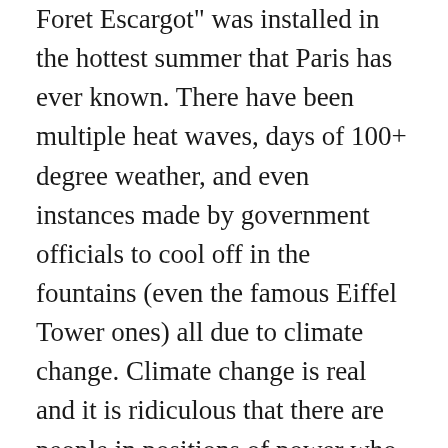Foret Escargot" was installed in the hottest summer that Paris has ever known. There have been multiple heat waves, days of 100+ degree weather, and even instances made by government officials to cool off in the fountains (even the famous Eiffel Tower ones) all due to climate change. Climate change is real and it is ridiculous that there are people in positions of power who truly ignore the research and data of scientists. Despite having signed the Paris Agreement in 2016 to pledge to lower emissions and pollution, while there have been significant strides, this summer is a testament to the fact that more must be done in this battle against climate change. The Paris Agreement is a great starting point for the directions that states should begin to take